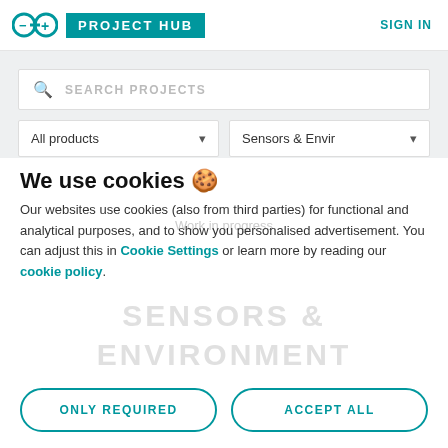PROJECT HUB — SIGN IN
[Figure (screenshot): Arduino Project Hub logo with infinity symbol and teal PROJECT HUB badge]
SIGN IN
SEARCH PROJECTS
All products
Sensors & Envir
Trending
Intermediate
We use cookies 🍪
Work in progress
Our websites use cookies (also from third parties) for functional and analytical purposes, and to show you personalised advertisement. You can adjust this in Cookie Settings or learn more by reading our cookie policy.
SENSORS &
ENVIRONMENT
ONLY REQUIRED
ACCEPT ALL